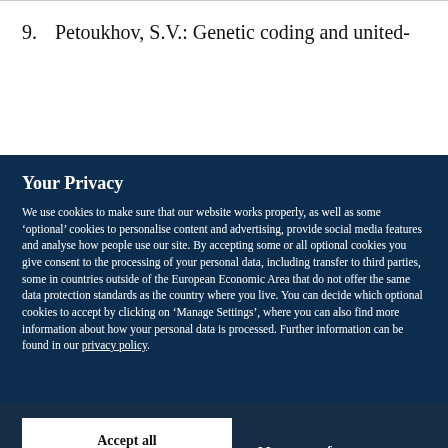9. Petoukhov, S.V.: Genetic coding and united-
Your Privacy
We use cookies to make sure that our website works properly, as well as some ‘optional’ cookies to personalise content and advertising, provide social media features and analyse how people use our site. By accepting some or all optional cookies you give consent to the processing of your personal data, including transfer to third parties, some in countries outside of the European Economic Area that do not offer the same data protection standards as the country where you live. You can decide which optional cookies to accept by clicking on ‘Manage Settings’, where you can also find more information about how your personal data is processed. Further information can be found in our privacy policy.
Accept all cookies
Manage preferences